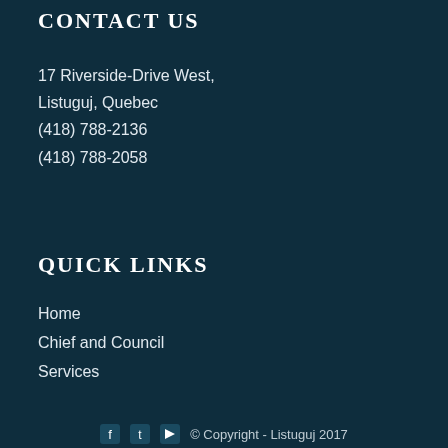CONTACT US
17 Riverside-Drive West,
Listuguj, Quebec
(418) 788-2136
(418) 788-2058
QUICK LINKS
Home
Chief and Council
Services
© Copyright - Listuguj 2017